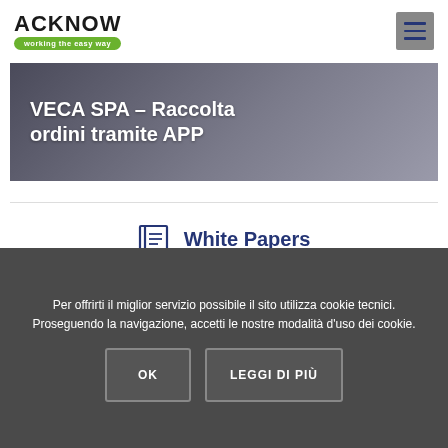[Figure (logo): Acknow logo with tagline 'working the easy way' on green pill]
[Figure (other): Hamburger menu icon (three horizontal lines) on grey square background]
[Figure (other): Hero banner with text 'VECA SPA – Raccolta ordini tramite APP' on dark grey gradient background]
White Papers
Testimonials
Per offrirti il miglior servizio possibile il sito utilizza cookie tecnici. Proseguendo la navigazione, accetti le nostre modalità d'uso dei cookie.
OK
LEGGI DI PIÙ